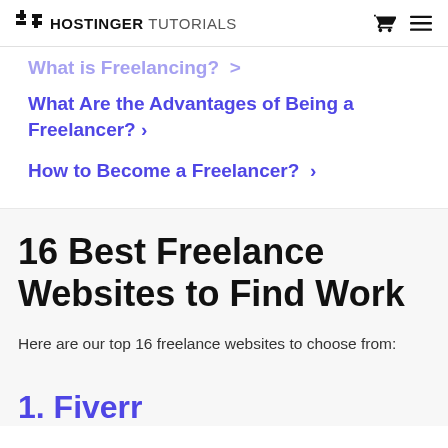HOSTINGER TUTORIALS
What Are the Advantages of Being a Freelancer? >
How to Become a Freelancer? >
16 Best Freelance Websites to Find Work
Here are our top 16 freelance websites to choose from:
1. Fiverr